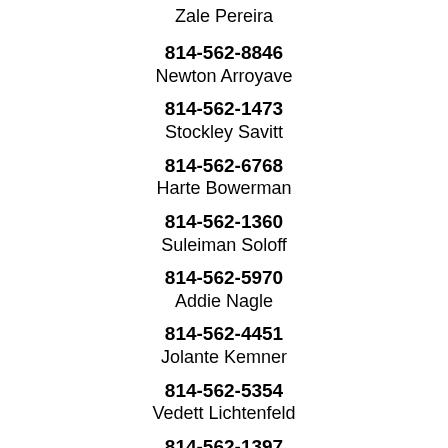Zale Pereira
814-562-8846
Newton Arroyave
814-562-1473
Stockley Savitt
814-562-6768
Harte Bowerman
814-562-1360
Suleiman Soloff
814-562-5970
Addie Nagle
814-562-4451
Jolante Kemner
814-562-5354
Vedett Lichtenfeld
814-562-1397
Alastor Dolman